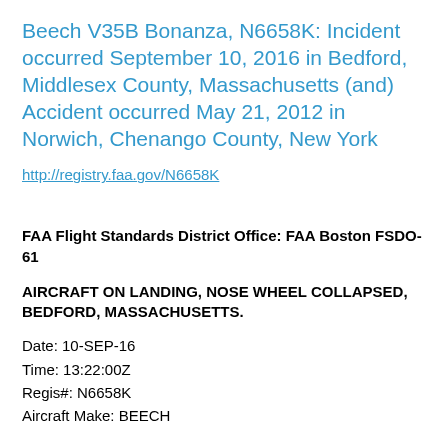Beech V35B Bonanza, N6658K: Incident occurred September 10, 2016 in Bedford, Middlesex County, Massachusetts (and) Accident occurred May 21, 2012 in Norwich, Chenango County, New York
http://registry.faa.gov/N6658K
FAA Flight Standards District Office: FAA Boston FSDO-61
AIRCRAFT ON LANDING, NOSE WHEEL COLLAPSED, BEDFORD, MASSACHUSETTS.
Date: 10-SEP-16
Time: 13:22:00Z
Regis#: N6658K
Aircraft Make: BEECH